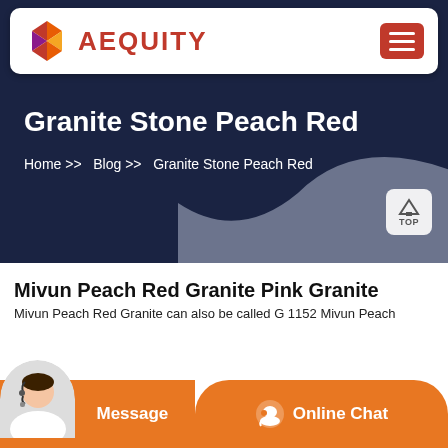[Figure (logo): Aequity logo with geometric diamond icon and red text AEQUITY on white header bar with hamburger menu button]
Granite Stone Peach Red
Home >> Blog >> Granite Stone Peach Red
Mivun Peach Red Granite Pink Granite
Mivun Peach Red Granite can also be called G 1152 Mivun Peach